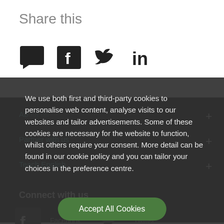Share this
[Figure (infographic): Social sharing icons: chat bubble, Facebook, Twitter, LinkedIn]
We use both first and third-party cookies to personalise web content, analyse visits to our websites and tailor advertisements. Some of these cookies are necessary for the website to function, whilst others require your consent. More detail can be found in our cookie policy and you can tailor your choices in the preference centre.
Accept All Cookies
Cookies Settings
Partner with us
Teach English
Connect with us
Facebook
Twitter